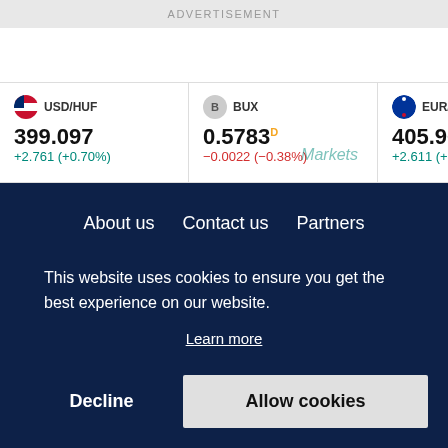ADVERTISEMENT
| Currency/Index | Value | Change |
| --- | --- | --- |
| USD/HUF | 399.097 | +2.761 (+0.70%) |
| BUX | 0.5783 | -0.0022 (-0.38%) |
| EUR/HUF | 405.965 | +2.611 (+0.65%) |
| TV | 3.80 | -0.12 |
About us   Contact us   Partners
This website uses cookies to ensure you get the best experience on our website.
Learn more
Decline
Allow cookies